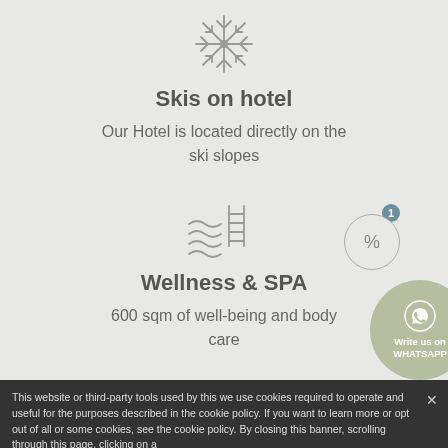[Figure (illustration): Snowflake outline icon in gray]
Skis on hotel
Our Hotel is located directly on the ski slopes
[Figure (illustration): Swimming pool with ladder outline icon in gray]
Wellness & SPA
600 sqm of well-being and body care
[Figure (illustration): WhatsApp contact button circle with phone icon and text 'Write us on WHATSAPP']
[Figure (illustration): Percent discount badge circle with notification dot showing '1']
This website or third-party tools used by this we use cookies required to operate and useful for the purposes described in the cookie policy. If you want to learn more or opt out of all or some cookies, see the cookie policy. By closing this banner, scrolling through this page, clicking on a